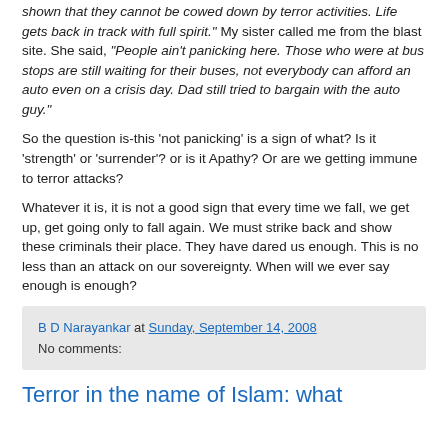shown that they cannot be cowed down by terror activities. Life gets back in track with full spirit." My sister called me from the blast site. She said, "People ain't panicking here. Those who were at bus stops are still waiting for their buses, not everybody can afford an auto even on a crisis day. Dad still tried to bargain with the auto guy."
So the question is-this 'not panicking' is a sign of what? Is it 'strength' or 'surrender'? or is it Apathy? Or are we getting immune to terror attacks?
Whatever it is, it is not a good sign that every time we fall, we get up, get going only to fall again. We must strike back and show these criminals their place. They have dared us enough. This is no less than an attack on our sovereignty. When will we ever say enough is enough?
B D Narayankar at Sunday, September 14, 2008
No comments:
Terror in the name of Islam: what